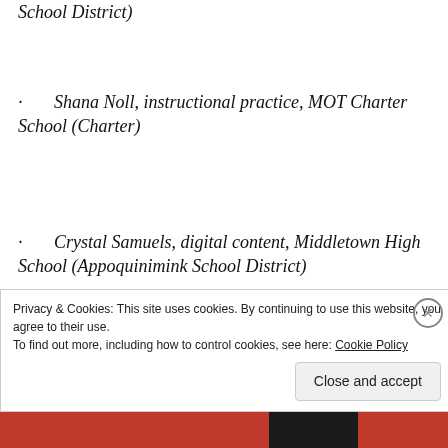School District)
· Shana Noll, instructional practice, MOT Charter School (Charter)
· Crystal Samuels, digital content, Middletown High School (Appoquinimink School District)
· Katharine Sawyer, instructional
Privacy & Cookies: This site uses cookies. By continuing to use this website, you agree to their use.
To find out more, including how to control cookies, see here: Cookie Policy